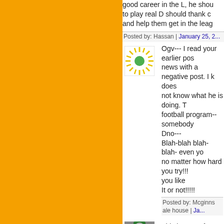good career in the L, he shou to play real D should thank c and help them get in the leag
Posted by: Hassan | January 25, 2...
[Figure (photo): Sun/starburst logo avatar icon, green circle in center with yellow rays on white background]
Ogv--- I read your earlier pos news with a negative post. I k does not know what he is doing. T football program-- somebody Dno--- Blah-blah blah- blah- even yo no matter how hard you try!!! you like It or not!!!!!
Posted by: Mcginns ale house | Ja...
[Figure (photo): Photo of a soccer/football player in green jersey]
This is pretty funny:
http://www.youtube.com/wato...